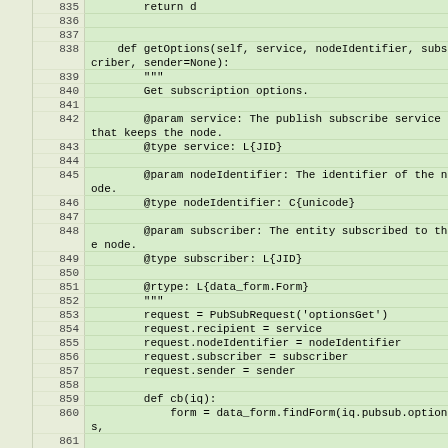[Figure (screenshot): Python source code viewer showing lines 835-862, with line numbers in a beige/green gutter and code content on green background. Code shows a getOptions method definition with docstring parameters and implementation.]